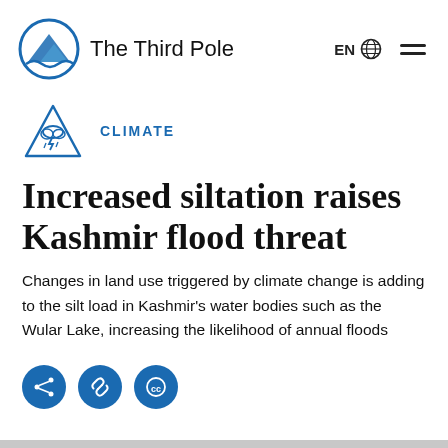The Third Pole
CLIMATE
Increased siltation raises Kashmir flood threat
Changes in land use triggered by climate change is adding to the silt load in Kashmir's water bodies such as the Wular Lake, increasing the likelihood of annual floods